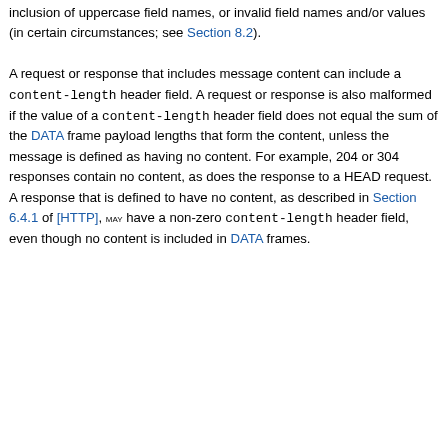otherwise valid sequence of HTTP/2 frames but is invalid due to the presence of extraneous frames, prohibited fields or pseudo-header fields, the absence of mandatory pseudo-header fields, the inclusion of uppercase field names, or invalid field names and/or values (in certain circumstances; see Section 8.2).

A request or response that includes message content can include a content-length header field. A request or response is also malformed if the value of a content-length header field does not equal the sum of the DATA frame payload lengths that form the content, unless the message is defined as having no content. For example, 204 or 304 responses contain no content, as does the response to a HEAD request. A response that is defined to have no content, as described in Section 6.4.1 of [HTTP], MAY have a non-zero content-length header field, even though no content is included in DATA frames.